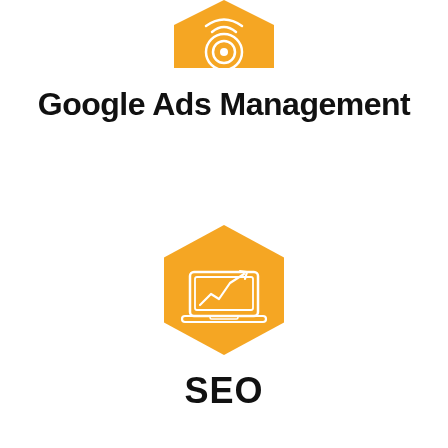[Figure (illustration): Orange hexagon icon with a target/bullseye symbol, partially cropped at top of page]
Google Ads Management
[Figure (illustration): Orange hexagon icon with a laptop showing an upward trending chart/SEO graph]
SEO